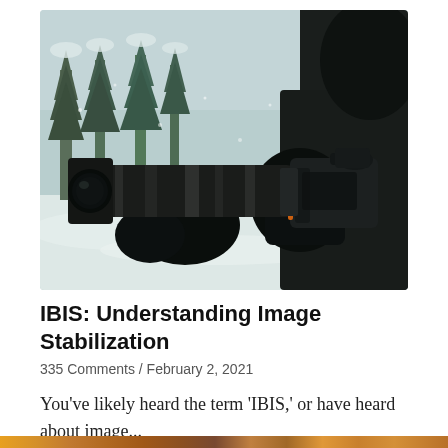[Figure (photo): A person wearing black winter gloves and a dark jacket holds a camera with a large telephoto lens up to their eye, photographing outdoors in a snowy winter scene with snow-covered evergreen trees in the background. The camera body is dark with orange accent ring visible.]
IBIS: Understanding Image Stabilization
335 Comments / February 2, 2021
You've likely heard the term 'IBIS,' or have heard about image...